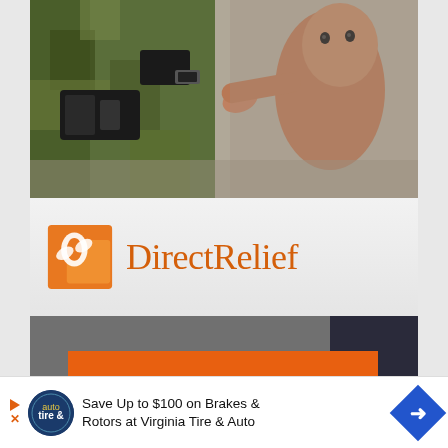[Figure (photo): Advertisement: Top photo shows a child holding hand of a person in camouflage military/emergency gear]
[Figure (logo): Direct Relief logo - orange square with medical caduceus symbol and text 'DirectRelief' in orange serif font]
[Figure (photo): Advertisement bottom photo with orange overlay box reading 'ANYTIME. ANYWHERE. ANYONE IN NEED.' - Direct Relief charity ad]
ezoic   report this ad
Trending
[Figure (infographic): Bottom banner ad: Save Up to $100 on Brakes & Rotors at Virginia Tire & Auto]